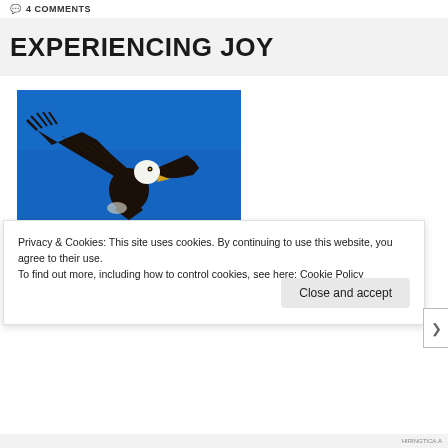💬 4 COMMENTS
EXPERIENCING JOY
[Figure (photo): A bald eagle in flight against a bright blue sky, wings spread wide with dark feathers, white head visible, photographed from below.]
Privacy & Cookies: This site uses cookies. By continuing to use this website, you agree to their use.
To find out more, including how to control cookies, see here: Cookie Policy
Close and accept